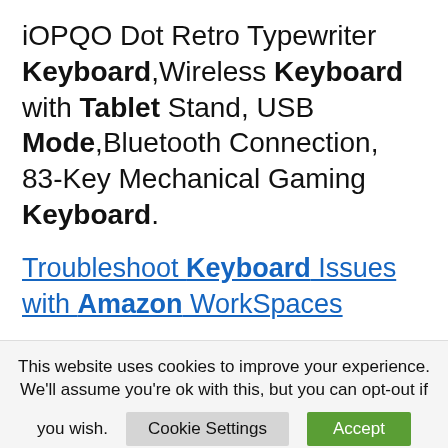iOPQO Dot Retro Typewriter Keyboard,Wireless Keyboard with Tablet Stand, USB Mode,Bluetooth Connection, 83-Key Mechanical Gaming Keyboard.
Troubleshoot Keyboard Issues with Amazon WorkSpaces
8 Mar 2021 … Disable any custom key remapping applications. If you're using an international keyboard for a
This website uses cookies to improve your experience. We'll assume you're ok with this, but you can opt-out if you wish.